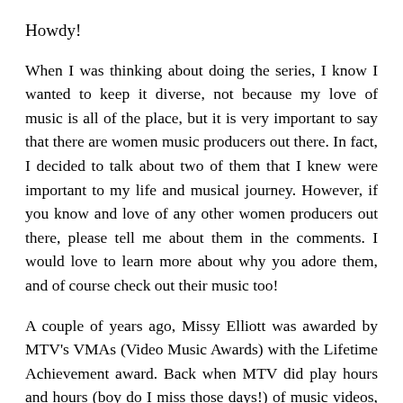Howdy!
When I was thinking about doing the series, I know I wanted to keep it diverse, not because my love of music is all of the place, but it is very important to say that there are women music producers out there. In fact, I decided to talk about two of them that I knew were important to my life and musical journey. However, if you know and love of any other women producers out there, please tell me about them in the comments. I would love to learn more about why you adore them, and of course check out their music too!
A couple of years ago, Missy Elliott was awarded by MTV's VMAs (Video Music Awards) with the Lifetime Achievement award. Back when MTV did play hours and hours (boy do I miss those days!) of music videos, you